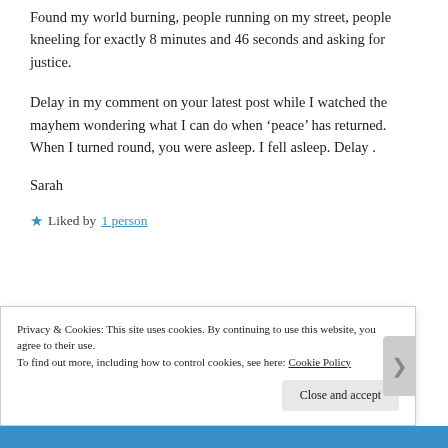Found my world burning, people running on my street, people kneeling for exactly 8 minutes and 46 seconds and asking for justice.
Delay in my comment on your latest post while I watched the mayhem wondering what I can do when ‘peace’ has returned. When I turned round, you were asleep. I fell asleep. Delay .
Sarah
★ Liked by 1 person
Privacy & Cookies: This site uses cookies. By continuing to use this website, you agree to their use. To find out more, including how to control cookies, see here: Cookie Policy
Close and accept